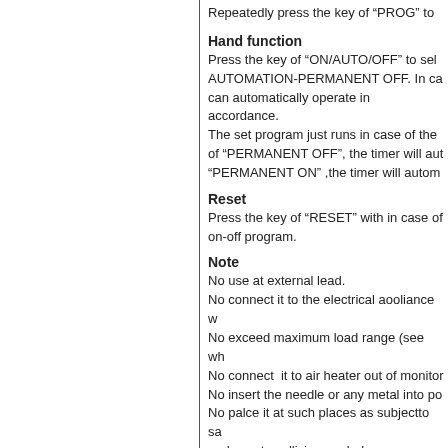Repeatedly press the key of “PROG” to
Hand function
Press the key of “ON/AUTO/OFF” to sel AUTOMATION-PERMANENT OFF. In ca can automatically operate in accordance. The set program just runs in case of the of “PERMANENT OFF”, the timer will aut “PERMANENT ON” ,the timer will autom
Reset
Press the key of “RESET” with in case of on-off program.
Note
No use at external lead.
No connect it to the electrical aooliance w
No exceed maximum load range (see wh
No connect it to air heater out of monito
No insert the needle or any metal into po
No palce it at such places as subjectto sa andeasy to collision or shake.
Resort to specialist to detachment for se
Clean enclosure enclosure and crystal so water.
Remarks
The maximum load of electronical timer i out of nominated range. Refer to Note fo